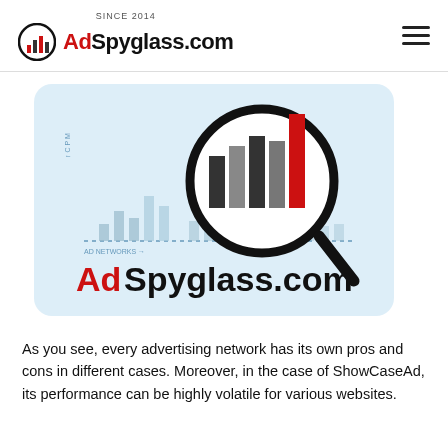SINCE 2014 AdSpyglass.com
[Figure (logo): AdSpyglass.com logo with bar chart magnifying glass illustration and brand name]
As you see, every advertising network has its own pros and cons in different cases. Moreover, in the case of ShowCaseAd, its performance can be highly volatile for various websites.